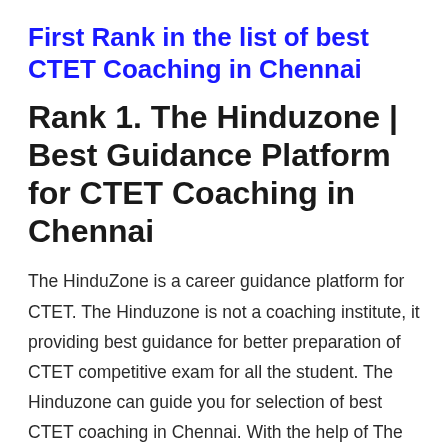First Rank in the list of best CTET Coaching in Chennai
Rank 1. The Hinduzone | Best Guidance Platform for CTET Coaching in Chennai
The HinduZone is a career guidance platform for CTET. The Hinduzone is not a coaching institute, it providing best guidance for better preparation of CTET competitive exam for all the student. The Hinduzone can guide you for selection of best CTET coaching in Chennai. With the help of The Hinduzone an aspirant can choose best coaching institute for various competitive exams.